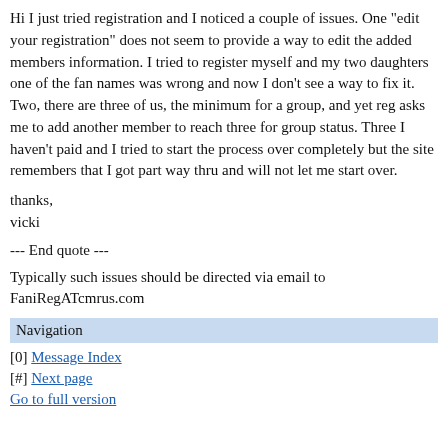Hi I just tried registration and I noticed a couple of issues. One "edit your registration" does not seem to provide a way to edit the added members information. I tried to register myself and my two daughters one of the fan names was wrong and now I don't see a way to fix it. Two, there are three of us, the minimum for a group, and yet reg asks me to add another member to reach three for group status. Three I haven't paid and I tried to start the process over completely but the site remembers that I got part way thru and will not let me start over.
thanks,
vicki
--- End quote ---
Typically such issues should be directed via email to FaniRegATcmrus.com
Navigation
[0] Message Index
[#] Next page
Go to full version